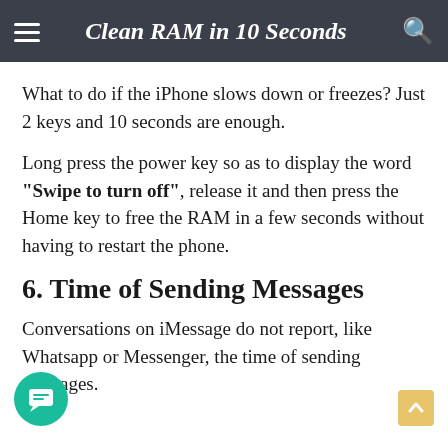Clean RAM in 10 Seconds
What to do if the iPhone slows down or freezes? Just 2 keys and 10 seconds are enough.
Long press the power key so as to display the word "Swipe to turn off", release it and then press the Home key to free the RAM in a few seconds without having to restart the phone.
6. Time of Sending Messages
Conversations on iMessage do not report, like Whatsapp or Messenger, the time of sending messages.